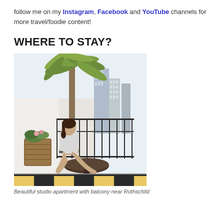follow me on my Instagram, Facebook and YouTube channels for more travel/foodie content!
WHERE TO STAY?
[Figure (photo): Woman sitting on a balcony with a small round table, wicker plant pot, palm tree and city buildings visible in background]
Beautiful studio apartment with balcony near Rothschild